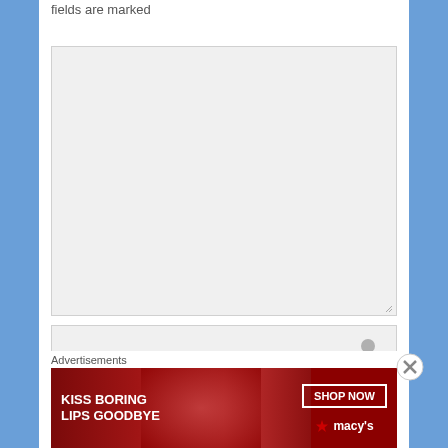fields are marked
[Figure (screenshot): A large empty textarea input field with a resize handle in the bottom-right corner, and below it a smaller text input field with a user/person icon on the right side.]
[Figure (screenshot): Close/X button circle icon on the right side of the page]
Advertisements
[Figure (illustration): Macy's advertisement banner with dark red background, woman's face showing lips, text 'KISS BORING LIPS GOODBYE', 'SHOP NOW' button, and Macy's star logo]